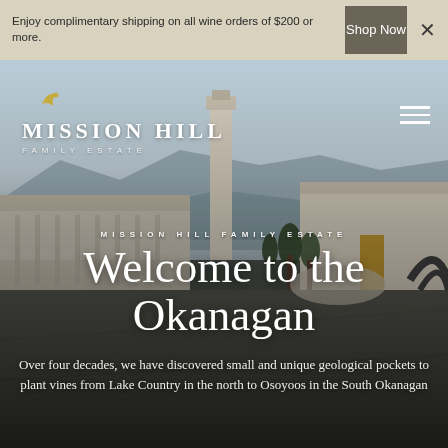Enjoy complimentary shipping on all wine orders of $200 or more.
Shop Now
[Figure (photo): Aerial/ground-level photograph of Mission Hill Family Estate winery complex with courtyard, buildings, tower, and Okanagan landscape in background]
Mission Hill Family Estate
Welcome to the Okanagan
Over four decades, we have discovered small and unique geological pockets to plant vines from Lake Country in the north to Osoyoos in the South Okanagan.